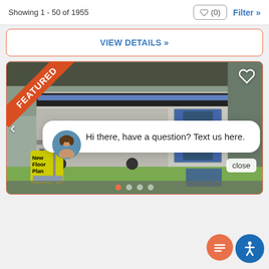Showing 1 - 50 of 1955
VIEW DETAILS »
[Figure (photo): Featured RV/camper trailer listing photo inside a dealership showroom, with 'FEATURED' orange diagonal banner in top-left corner, heart icon top-right, 'New Floor Plan' sign in lower-left, and navigation arrow on left side. A chat bubble overlay reads 'Hi there, have a question? Text us here.' with a female avatar photo. Dot pagination indicators at bottom. Accessibility and chat floating buttons bottom-right.]